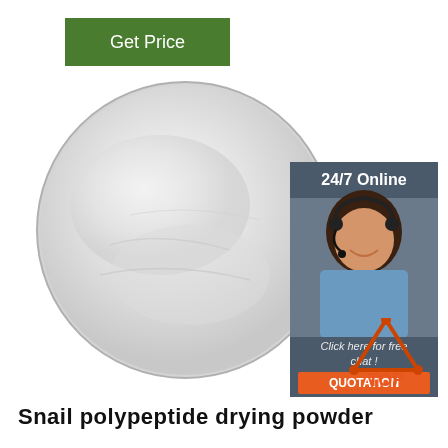[Figure (other): Green rectangle button with text 'Get Price' in white]
[Figure (photo): A white/light gray powder in a round petri dish or plate, photographed from above on a white background]
[Figure (photo): Customer service representative with headset smiling, dark hair, blue shirt. Dark blue/slate background banner with '24/7 Online' text, 'Click here for free chat!' text, and orange 'QUOTATION' button below.]
[Figure (logo): TOP logo: orange/red triangle shape with dots, with 'TOP' text in orange below]
Snail polypeptide drying powder